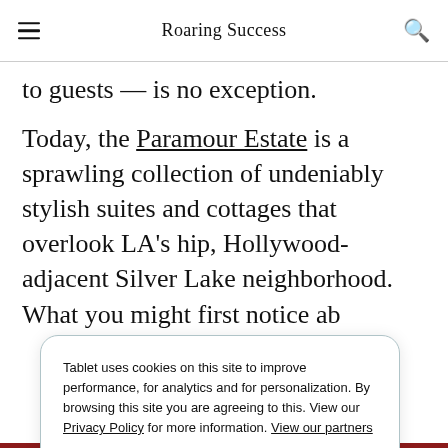Roaring Success
to guests — is no exception.
Today, the Paramour Estate is a sprawling collection of undeniably stylish suites and cottages that overlook LA's hip, Hollywood-adjacent Silver Lake neighborhood. What you might first notice a[bout]
Tablet uses cookies on this site to improve performance, for analytics and for personalization. By browsing this site you are agreeing to this. View our Privacy Policy for more information. View our partners
Learn More →  Agree and close